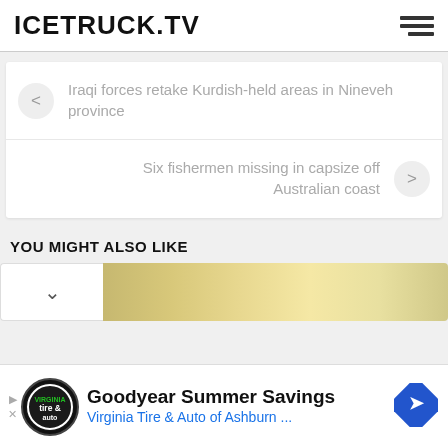ICETRUCK.TV
Iraqi forces retake Kurdish-held areas in Nineveh province
Six fishermen missing in capsize off Australian coast
YOU MIGHT ALSO LIKE
[Figure (screenshot): Collapsed card row with chevron and a partial landscape/sky image thumbnail]
Goodyear Summer Savings
Virginia Tire & Auto of Ashburn ...